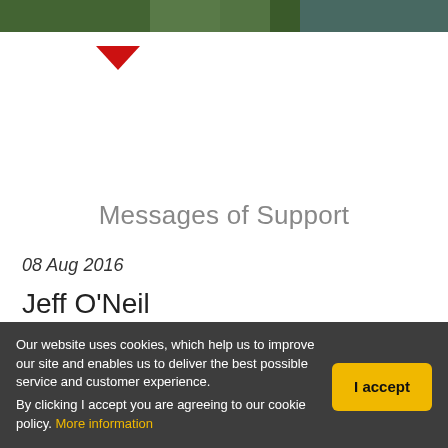[Figure (photo): Partial photo strip at top of page showing outdoor scene with green/dark tones]
[Figure (other): Red downward-pointing triangle/arrow icon]
Messages of Support
08 Aug 2016
Jeff O'Neil
I have just read 'Close To the Wind'. What an inspirational story. Good on you for having the guts
Our website uses cookies, which help us to improve our site and enables us to deliver the best possible service and customer experience.
By clicking I accept you are agreeing to our cookie policy. More information